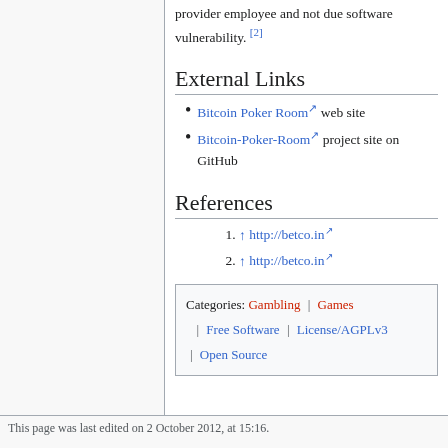provider employee and not due software vulnerability. [2]
External Links
Bitcoin Poker Room [external link] web site
Bitcoin-Poker-Room [external link] project site on GitHub
References
1. ↑ http://betco.in [external link]
2. ↑ http://betco.in [external link]
Categories: Gambling | Games | Free Software | License/AGPLv3 | Open Source
This page was last edited on 2 October 2012, at 15:16.